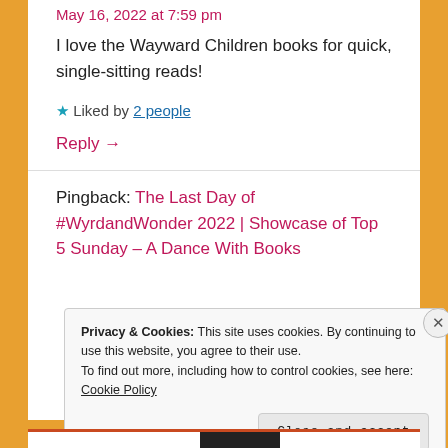May 16, 2022 at 7:59 pm
I love the Wayward Children books for quick, single-sitting reads!
★ Liked by 2 people
Reply →
Pingback: The Last Day of #WyrdandWonder 2022 | Showcase of Top 5 Sunday – A Dance With Books
Privacy & Cookies: This site uses cookies. By continuing to use this website, you agree to their use. To find out more, including how to control cookies, see here: Cookie Policy
Close and accept